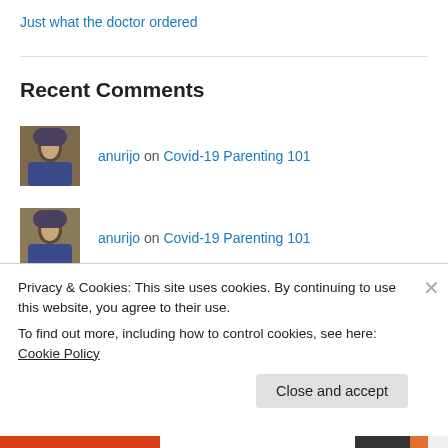Just what the doctor ordered
Recent Comments
anurijo on Covid-19 Parenting 101
anurijo on Covid-19 Parenting 101
M Garr on Covid-19 Parenting 101
the #1 Itinerary on What you water grows: Part 1
Privacy & Cookies: This site uses cookies. By continuing to use this website, you agree to their use. To find out more, including how to control cookies, see here: Cookie Policy
Close and accept